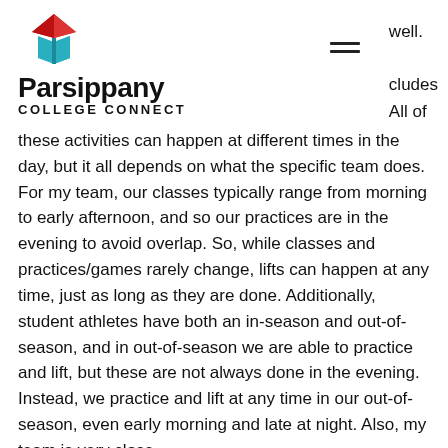[Figure (logo): Parsippany College Connect logo with red and blue graduation cap icon above the text 'Parsippany' in bold and 'COLLEGE CONNECT' in spaced capitals]
well. cludes All of these activities can happen at different times in the day, but it all depends on what the specific team does. For my team, our classes typically range from morning to early afternoon, and so our practices are in the evening to avoid overlap. So, while classes and practices/games rarely change, lifts can happen at any time, just as long as they are done. Additionally, student athletes have both an in-season and out-of-season, and in out-of-season we are able to practice and lift, but these are not always done in the evening. Instead, we practice and lift at any time in our out-of-season, even early morning and late at night. Also, my team is very close